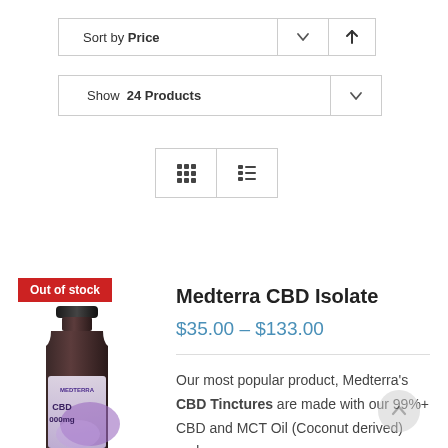Sort by Price ↓
Show 24 Products
[Figure (screenshot): Grid and list view toggle buttons]
[Figure (photo): Medterra CBD Isolate tincture bottle with purple label, 'Out of stock' red badge overlay]
Medterra CBD Isolate
$35.00 – $133.00
Our most popular product, Medterra's CBD Tinctures are made with our 99%+ CBD and MCT Oil (Coconut derived) and are